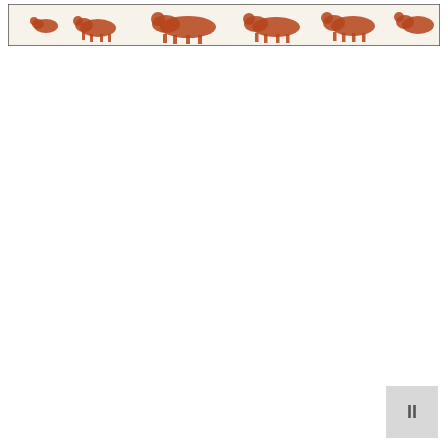[Figure (illustration): A horizontal banner image showing silhouettes of animals (appears to be cattle/bears) in brown/rust color on a light cream/beige background, framed with a thin dark border.]
II